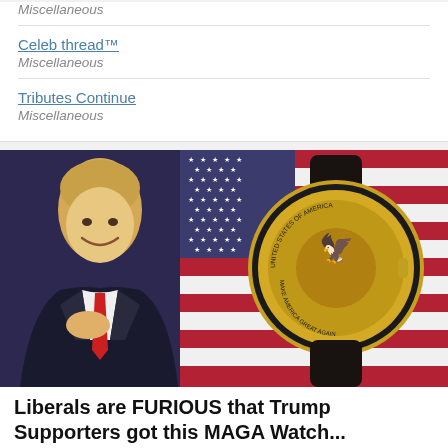Miscellaneous
Celeb thread™
Miscellaneous
Tributes Continue
Miscellaneous
[Figure (photo): Advertisement image showing a man in a dark suit with a red tie smiling, placed in front of an American flag, alongside a gold watch with 'United States of America' and 'Make America Great Again' text on its face, with a black leather strap.]
Liberals are FURIOUS that Trump Supporters got this MAGA Watch...